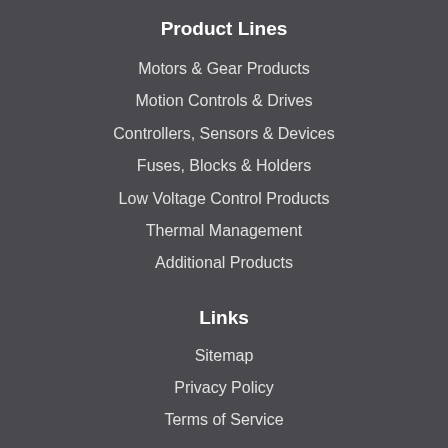Product Lines
Motors & Gear Products
Motion Controls & Drives
Controllers, Sensors & Devices
Fuses, Blocks & Holders
Low Voltage Control Products
Thermal Management
Additional Products
Links
Sitemap
Privacy Policy
Terms of Service